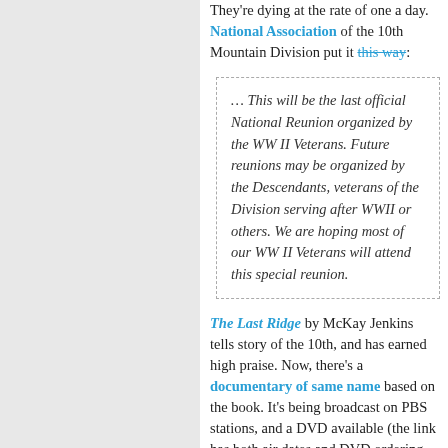They're dying at the rate of one a day. National Association of the 10th Mountain Division put it this way:
… This will be the last official National Reunion organized by the WW II Veterans. Future reunions may be organized by the Descendants, veterans of the Division serving after WWII or others. We are hoping most of our WW II Veterans will attend this special reunion.
The Last Ridge by McKay Jenkins tells story of the 10th, and has earned high praise. Now, there's a documentary of same name based on the book. It's being broadcast on PBS stations, and a DVD available (the link has both air dates and DVD ordering information).